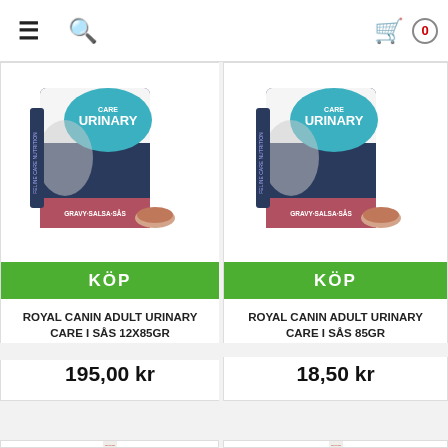Navigation bar with menu, search, and cart (0 items)
[Figure (photo): Royal Canin Adult Urinary Care i sås 12x85gr product box]
KÖP
ROYAL CANIN ADULT URINARY CARE I SÅS 12X85GR
195,00 kr
[Figure (photo): Royal Canin Adult Urinary Care i sås 85gr product box]
KÖP
ROYAL CANIN ADULT URINARY CARE I SÅS 85GR
18,50 kr
[Figure (photo): Royal Canin dry food bag, bottom portion visible]
[Figure (photo): Royal Canin dry food bag, bottom portion visible]